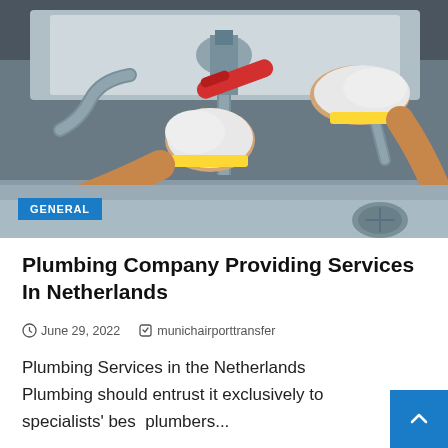[Figure (photo): A plumber wearing white gloves with yellow cuffs using a red wrench to work on pipes under a sink]
GENERAL
Plumbing Company Providing Services In Netherlands
June 29, 2022   munichairporttransfer
Plumbing Services in the Netherlands Plumbing should entrust it exclusively to specialists' best plumbers...